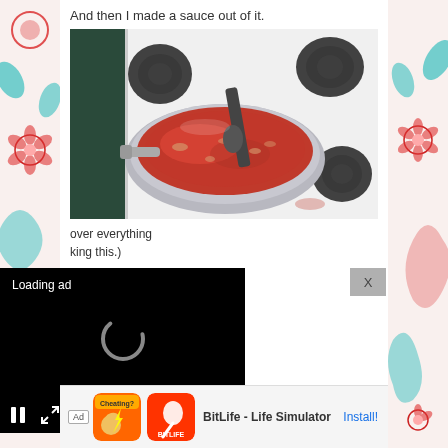And then I made a sauce out of it.
[Figure (photo): A pot of red tomato sauce cooking on a white electric stovetop, with a ladle/spoon in the pot. Black electric burner coils visible around the pot.]
over everything king this.)
the bottom it should really know.
[Figure (screenshot): Black video ad overlay showing 'Loading ad' text with a circular loading spinner, pause button, expand button, and mute button controls at the bottom left.]
[Figure (infographic): Bottom banner advertisement for 'BitLife - Life Simulator' app with Ad badge, app icon, app name, and Install button.]